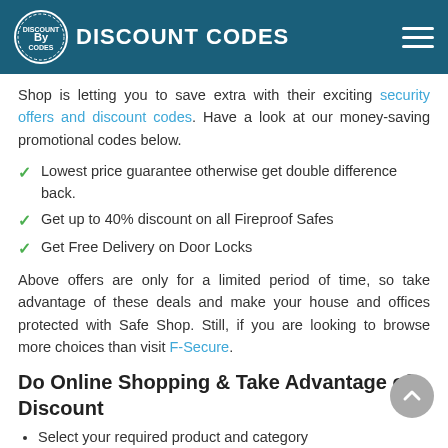DISCOUNT CODES
Shop is letting you to save extra with their exciting security offers and discount codes. Have a look at our money-saving promotional codes below.
Lowest price guarantee otherwise get double difference back.
Get up to 40% discount on all Fireproof Safes
Get Free Delivery on Door Locks
Above offers are only for a limited period of time, so take advantage of these deals and make your house and offices protected with Safe Shop. Still, if you are looking to browse more choices than visit F-Secure.
Do Online Shopping & Take Advantage of Discount
Select your required product and category